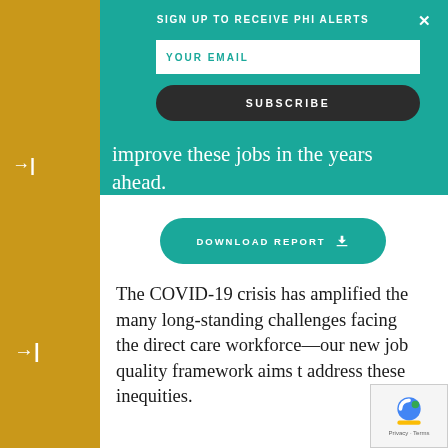SIGN UP TO RECEIVE PHI ALERTS
YOUR EMAIL
SUBSCRIBE
improve these jobs in the years ahead.
DOWNLOAD REPORT
The COVID-19 crisis has amplified the many long-standing challenges facing the direct care workforce—our new job quality framework aims to address these inequities.